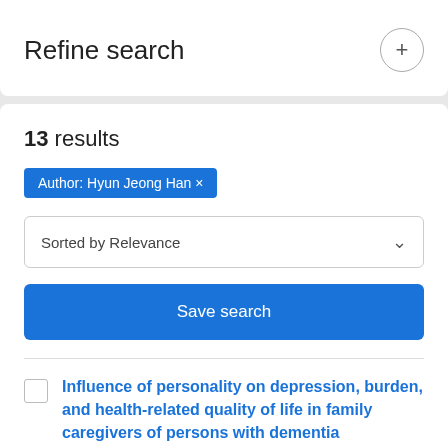Refine search
13 results
Author: Hyun Jeong Han ×
Sorted by Relevance
Save search
Influence of personality on depression, burden, and health-related quality of life in family caregivers of persons with dementia